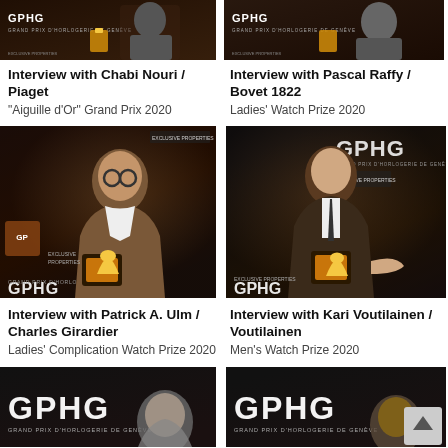[Figure (photo): Photo of Chabi Nouri at GPHG event backdrop]
Interview with Chabi Nouri / Piaget
"Aiguille d'Or" Grand Prix 2020
[Figure (photo): Photo of Pascal Raffy at GPHG event backdrop]
Interview with Pascal Raffy / Bovet 1822
Ladies' Watch Prize 2020
[Figure (photo): Photo of Patrick A. Ulm / Charles Girardier holding GPHG award at event]
Interview with Patrick A. Ulm / Charles Girardier
Ladies' Complication Watch Prize 2020
[Figure (photo): Photo of Kari Voutilainen holding GPHG award at event]
Interview with Kari Voutilainen / Voutilainen
Men's Watch Prize 2020
[Figure (photo): GPHG event photo partially visible at bottom left]
[Figure (photo): GPHG event photo partially visible at bottom right with scroll-to-top button]